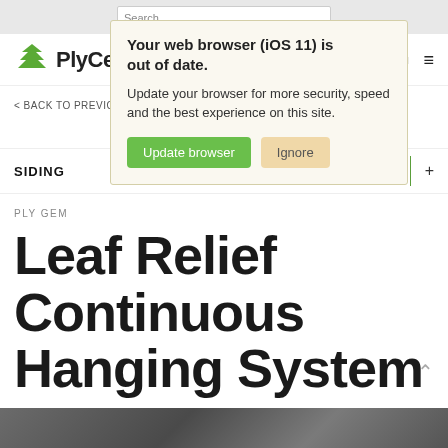Search
[Figure (logo): PlyGem logo with green chevron icon and bold PlyGem text]
Menu ≡
Your web browser (iOS 11) is out of date. Update your browser for more security, speed and the best experience on this site. [Update browser] [Ignore]
< BACK TO PREVIOUS
SIDING
PLY GEM
Leaf Relief Continuous Hanging System